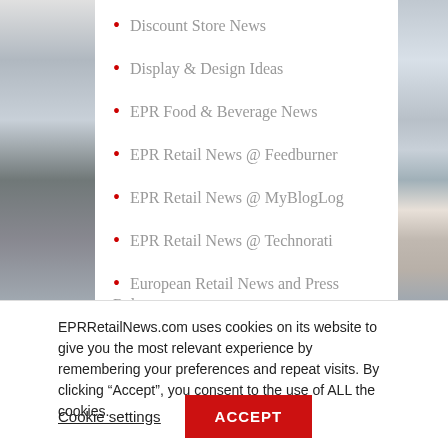Discount Store News
Display & Design Ideas
EPR Food & Beverage News
EPR Retail News @ Feedburner
EPR Retail News @ MyBlogLog
EPR Retail News @ Technorati
European Retail News and Press Releases
Free Retail Press Releases
EPRRetailNews.com uses cookies on its website to give you the most relevant experience by remembering your preferences and repeat visits. By clicking “Accept”, you consent to the use of ALL the cookies.
Cookie settings
ACCEPT